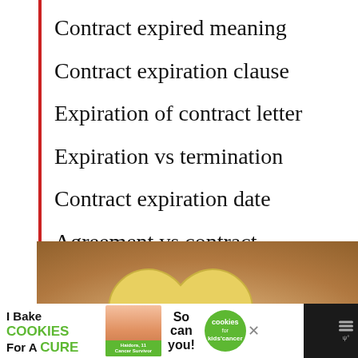Contract expired meaning
Contract expiration clause
Expiration of contract letter
Expiration vs termination
Contract expiration date
Agreement vs contract
[Figure (photo): Advertisement banner for cookies for kids cancer showing hands holding a heart-shaped cookie on green background with white circle logo]
[Figure (photo): Bottom advertisement bar for I Bake Cookies For A Cure campaign with girl photo and cookies for kids cancer logo]